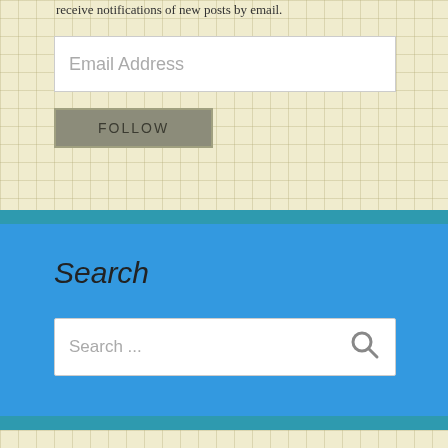receive notifications of new posts by email.
Email Address
FOLLOW
Search
Search ...